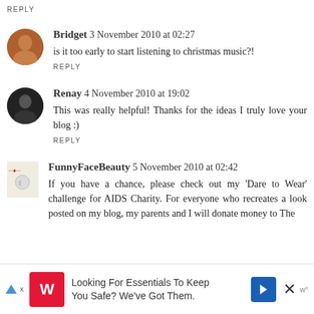REPLY
[Figure (photo): Avatar of Bridget, circular profile photo showing a woman's face]
Bridget  3 November 2010 at 02:27
is it too early to start listening to christmas music?!
REPLY
[Figure (photo): Avatar of Renay, circular profile photo showing a woman with dark clothing]
Renay  4 November 2010 at 19:02
This was really helpful! Thanks for the ideas I truly love your blog :)
REPLY
[Figure (photo): Avatar of FunnyFaceBeauty, small logo/icon image]
FunnyFaceBeauty  5 November 2010 at 02:42
If you have a chance, please check out my 'Dare to Wear' challenge for AIDS Charity. For everyone who recreates a look posted on my blog, my parents and I will donate money to The
[Figure (screenshot): Walgreens advertisement banner: Looking For Essentials To Keep You Safe? We've Got Them.]